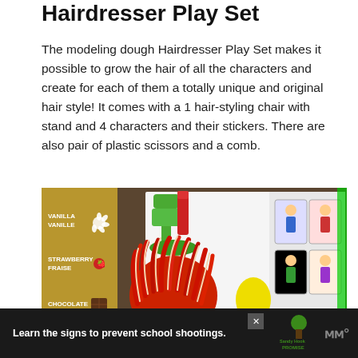Hairdresser Play Set
The modeling dough Hairdresser Play Set makes it possible to grow the hair of all the characters and create for each of them a totally unique and original hair style! It comes with a 1 hair-styling chair with stand and 4 characters and their stickers. There are also pair of plastic scissors and a comb.
[Figure (photo): Photo of the Hairdresser Play Set packaging, showing a figure with red/cream colored dough hair strands, a green hair-styling chair accessory, character sticker cards, and a brown background. Partially visible flavour labels on the left side: VANILLA/VANILLE, STRAWBERRY/FRAISE, CHOCOLATE/CHOCOLAT, LEMON/CITRON.]
Learn the signs to prevent school shootings.